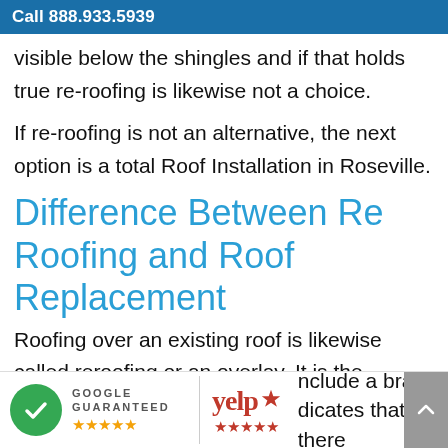Call 888.933.5939
visible below the shingles and if that holds true re-roofing is likewise not a choice.
If re-roofing is not an alternative, the next option is a total Roof Installation in Roseville.
Difference Between Re Roofing and Roof Replacement
Roofing over an existing roof is likewise called reroofing or an overlay. It is the procedure where roofing professionals install a brand-new
[Figure (logo): Google Guaranteed badge with green checkmark and five gold stars]
[Figure (logo): Yelp logo with five red stars]
nclude a brand-
dicates that there